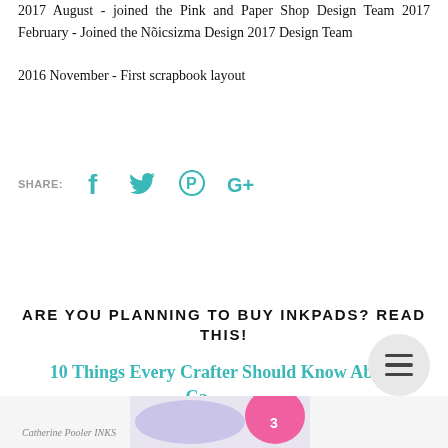2017 August - joined the Pink and Paper Shop Design Team 2017 February - Joined the Nõicsizma Design 2017 Design Team
2016 November - First scrapbook layout
SHARE: [Facebook] [Twitter] [Pinterest] [Google+]
ARE YOU PLANNING TO BUY INKPADS? READ THIS!
10 Things Every Crafter Should Know About Catherine Pooler Inks